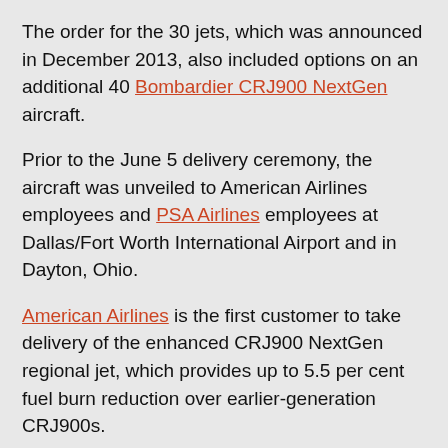The order for the 30 jets, which was announced in December 2013, also included options on an additional 40 Bombardier CRJ900 NextGen aircraft.
Prior to the June 5 delivery ceremony, the aircraft was unveiled to American Airlines employees and PSA Airlines employees at Dallas/Fort Worth International Airport and in Dayton, Ohio.
American Airlines is the first customer to take delivery of the enhanced CRJ900 NextGen regional jet, which provides up to 5.5 per cent fuel burn reduction over earlier-generation CRJ900s.
The delivery ceremony at Bombardier's Mirabel facility near Montréal was attended by senior executives and employees of American Airlines, PSA Airlines, Bombardier and major suppliers to the CRJ Series regional jet program.
"We look forward to integrating the enhanced CRJ900 NextGen aircraft into our fleet and to expanding service for our customers," said Keith Houk, president of PSA Airlines. "The new CRJ900 NextGen aircraft will provide us with